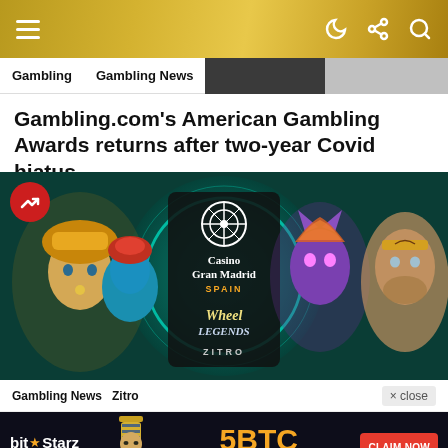Gambling.com – site navigation header with hamburger menu and icons
Gambling   Gambling News
Gambling.com's American Gambling Awards returns after two-year Covid hiatus
[Figure (photo): Casino Gran Madrid Spain – Wheel of Legends by Zitro promotional banner featuring fantasy characters and slot game imagery. Red trending arrow badge in top-left corner.]
Gambling News   Zitro
[Figure (other): BitStarz casino advertisement banner: bit★Starz Award Winning Casino logo, pharaoh character image, 5BTC +200 FREE SPINS offer text, CLAIM NOW button]